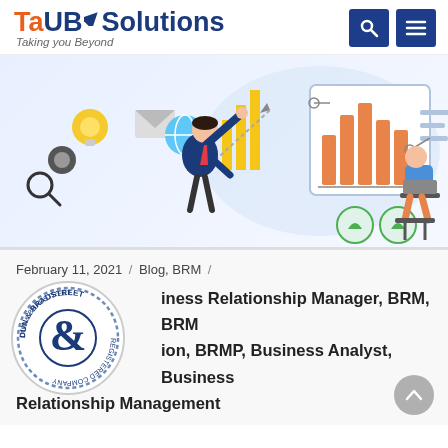TaUB Solutions — Taking you Beyond
[Figure (illustration): Business illustration showing a person in a suit with arm raised surrounded by icons (lightbulb, gears, magnifier, email, globe, bar chart) on left, and a person sitting at laptop with a bar chart dashboard on right]
February 11, 2021 / Blog, BRM /
Business Relationship Manager, BRM, BRM Certification, BRMP, Business Analyst, Business Relationship Management
[Figure (logo): Dun & Bradstreet circular badge/logo]